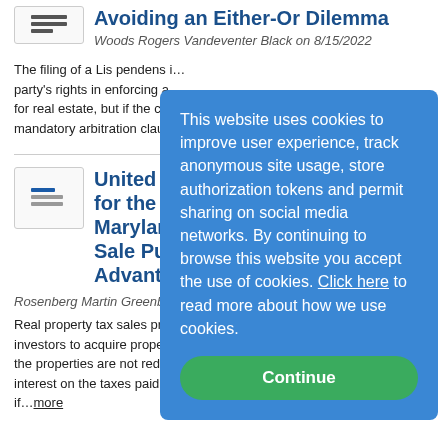[Figure (other): Small thumbnail icon with hamburger menu lines]
Avoiding an Either-Or Dilemma
Woods Rogers Vandeventer Black on 8/15/2022
The filing of a Lis pendens is... party's rights in enforcing a ... for real estate, but if the clai... mandatory arbitration clause...
[Figure (other): Small thumbnail image with document icon]
United States C... for the Fourth C... Maryland's Atte... Sale Purchasers... Advantage
Rosenberg Martin Greenbe...
Real property tax sales prov... investors to acquire properti... the properties are not redeem... interest on the taxes paid at ... if...more
This website uses cookies to improve user experience, track anonymous site usage, store authorization tokens and permit sharing on social media networks. By continuing to browse this website you accept the use of cookies. Click here to read more about how we use cookies.